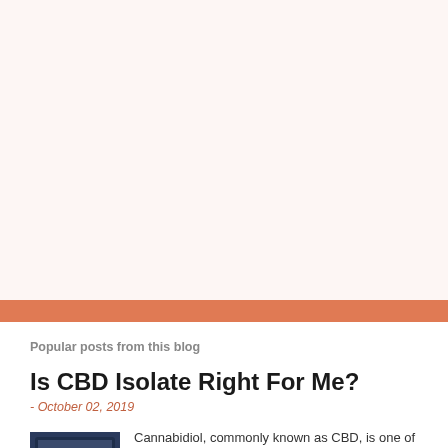[Figure (other): Large blank pinkish-white area at top of page, likely an advertisement or image placeholder]
Popular posts from this blog
Is CBD Isolate Right For Me?
- October 02, 2019
[Figure (photo): Partial image of CBD product packaging, dark blue/purple box with small icons visible at bottom left]
Cannabidiol,  commonly known as CBD, is one of the fastest growing products and  industries growing today. But what exactly is CBD a...